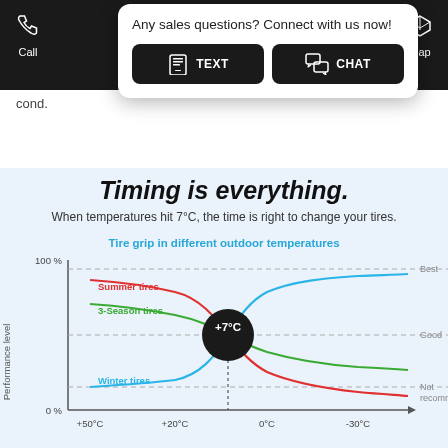[Figure (screenshot): Dark header bar with phone/call icon on left and map icon on right, with a white popup overlay showing 'Any sales questions? Connect with us now!' and two buttons: TEXT and CHAT]
cond.
Timing is everything.
When temperatures hit 7°C, the time is right to change your tires.
[Figure (line-chart): Tire grip in different outdoor temperatures]